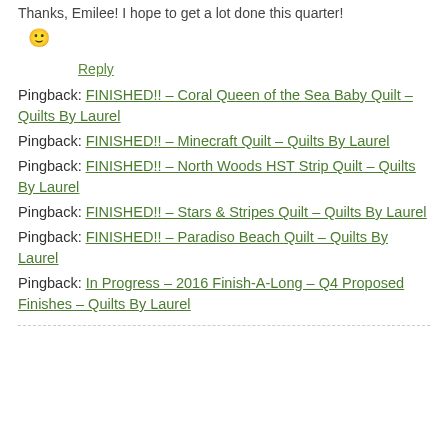Thanks, Emilee! I hope to get a lot done this quarter! 🙂
Reply
Pingback: FINISHED!! – Coral Queen of the Sea Baby Quilt – Quilts By Laurel
Pingback: FINISHED!! – Minecraft Quilt – Quilts By Laurel
Pingback: FINISHED!! – North Woods HST Strip Quilt – Quilts By Laurel
Pingback: FINISHED!! – Stars & Stripes Quilt – Quilts By Laurel
Pingback: FINISHED!! – Paradiso Beach Quilt – Quilts By Laurel
Pingback: In Progress – 2016 Finish-A-Long – Q4 Proposed Finishes – Quilts By Laurel